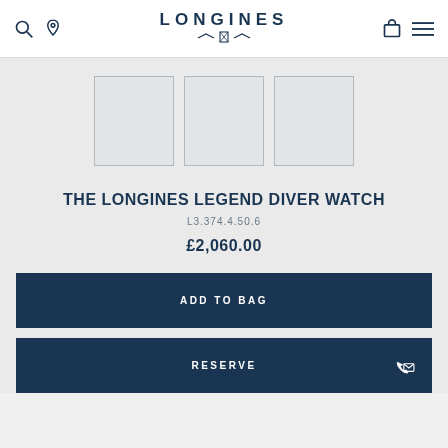LONGINES
[Figure (photo): Three empty product image thumbnail placeholders in a row]
THE LONGINES LEGEND DIVER WATCH
L3.374.4.50.6
£2,060.00
ADD TO BAG
RESERVE